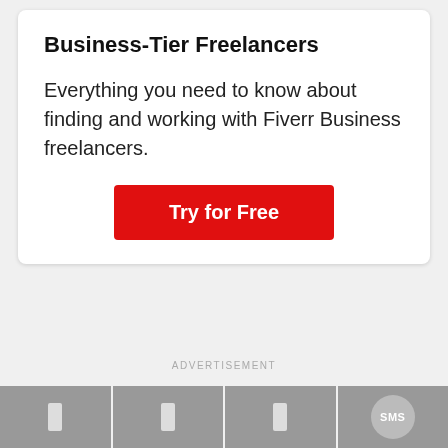Business-Tier Freelancers
Everything you need to know about finding and working with Fiverr Business freelancers.
ADVERTISEMENT
And, it's worth noting that this list isn't complete.